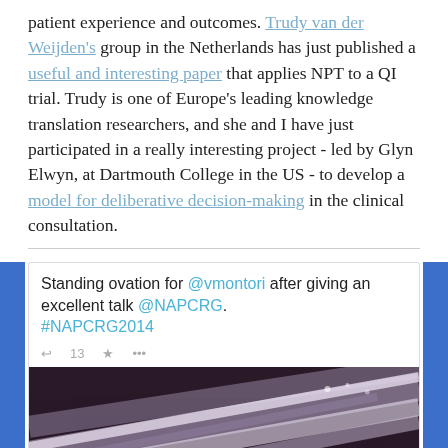patient experience and outcomes. Trudy van der Weijden's group in the Netherlands has just published a useful and interesting paper that applies NPT to a QI trial. Trudy is one of Europe's leading knowledge translation researchers, and she and I have just participated in a really interesting project - led by Glyn Elwyn, at Dartmouth College in the US - to develop a model for deliberative decision-making in the clinical consultation.
[Figure (screenshot): Embedded tweet reading: 'Standing ovation for @vmontori after giving an excellent talk @NAPCRG. #NAPCRG2014' with tweet action icons and a partial venue/ceiling photo below.]